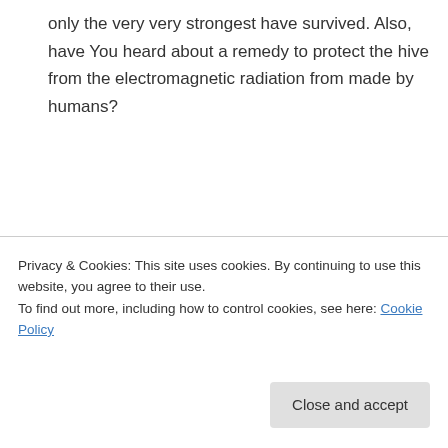only the very very strongest have survived. Also, have You heard about a remedy to protect the hive from the electromagnetic radiation from made by humans?
↳ Reply
Nick on April 29, 2012 at 9:57 am
Hi Varsham, sorry I don't have any plans for a bicycle pump powderer. sounds like
Privacy & Cookies: This site uses cookies. By continuing to use this website, you agree to their use.
To find out more, including how to control cookies, see here: Cookie Policy
Close and accept